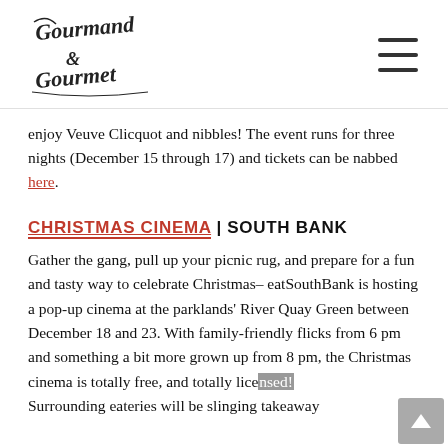Gourmand & Gourmet
enjoy Veuve Clicquot and nibbles! The event runs for three nights (December 15 through 17) and tickets can be nabbed here.
CHRISTMAS CINEMA | SOUTH BANK
Gather the gang, pull up your picnic rug, and prepare for a fun and tasty way to celebrate Christmas– eatSouthBank is hosting a pop-up cinema at the parklands' River Quay Green between December 18 and 23. With family-friendly flicks from 6 pm and something a bit more grown up from 8 pm, the Christmas cinema is totally free, and totally licensed! Surrounding eateries will be slinging takeaway